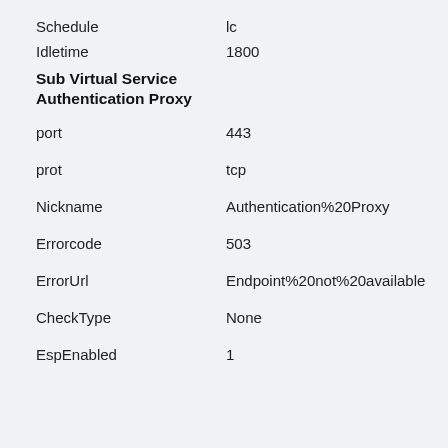Schedule   lc
Idletime   1800
Sub Virtual Service
Authentication Proxy
port   443
prot   tcp
Nickname   Authentication%20Proxy
Errorcode   503
ErrorUrl   Endpoint%20not%20available
CheckType   None
EspEnabled   1